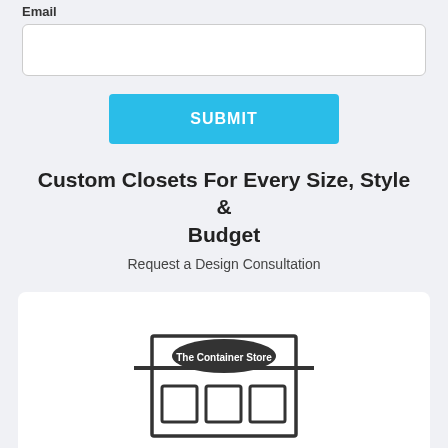Email
SUBMIT
Custom Closets For Every Size, Style & Budget
Request a Design Consultation
[Figure (illustration): Line drawing of a storefront with 'The Container Store' sign above three windows/doors]
In-Store Appointment